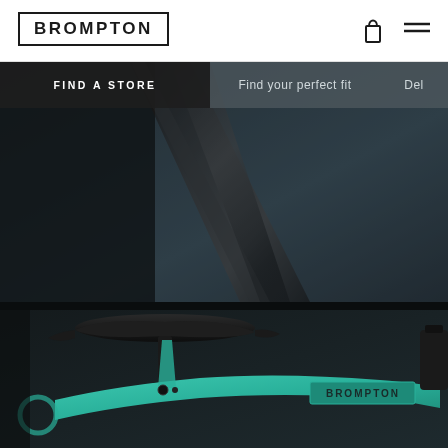[Figure (screenshot): Brompton website screenshot showing the header with BROMPTON logo in a box, shopping bag icon and hamburger menu icon on the right, a navigation bar with FIND A STORE, Find your perfect fit, and partially visible Del text, a top image section showing close-up dark photo of a bicycle tube/frame, and a bottom image section showing a teal/turquoise Brompton folding bicycle with black saddle and the BROMPTON brand label on the frame.]